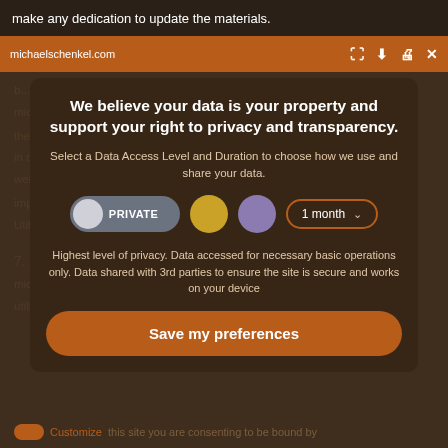make any dedication to update the materials.
michaelschenkel.com
We believe your data is your property and support your right to privacy and transparency.
Select a Data Access Level and Duration to choose how we use and share your data.
PRIVATE  1 month
Highest level of privacy. Data accessed for necessary basic operations only. Data shared with 3rd parties to ensure the site is secure and works on your device
7. Site Terms of Use Modifications
Save my preferences
Customize
this site you are consenting to be bound by